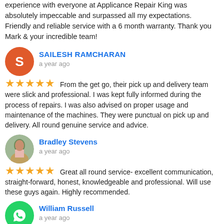experience with everyone at Applicance Repair King was absolutely impeccable and surpassed all my expectations. Friendly and reliable service with a 6 month warranty. Thank you Mark & your incredible team!
SAILESH RAMCHARAN
a year ago
From the get go, their pick up and delivery team were slick and professional. I was kept fully informed during the process of repairs. I was also advised on proper usage and maintenance of the machines. They were punctual on pick up and delivery. All round genuine service and advice.
Bradley Stevens
a year ago
Great all round service- excellent communication, straight-forward, honest, knowledgeable and professional. Will use these guys again. Highly recommended.
William Russell
a year ago
5 stars!! At last, a company who who does